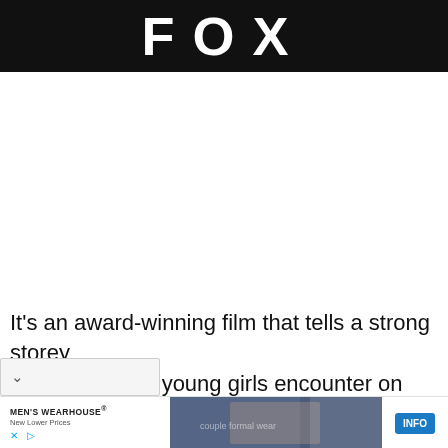FOX
It’s an award-winning film that tells a strong storey t the pressures young girls encounter on social
[Figure (screenshot): Advertisement for Men's Wearhouse showing a couple in formal wear and a man in a suit, with an INFO button]
MEN’S WEARHOUSE® New Lower Prices